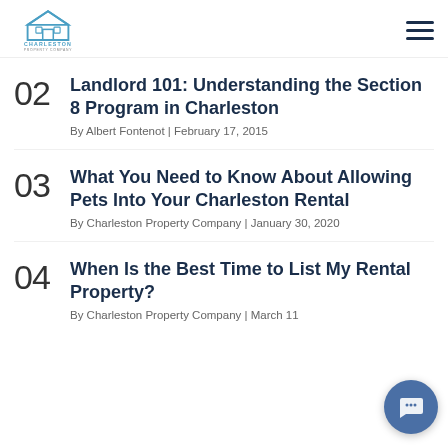Charleston Property Company — navigation bar with logo and hamburger menu
By Brian Dick | December 29, 2015
02 Landlord 101: Understanding the Section 8 Program in Charleston — By Albert Fontenot | February 17, 2015
03 What You Need to Know About Allowing Pets Into Your Charleston Rental — By Charleston Property Company | January 30, 2020
04 When Is the Best Time to List My Rental Property? — By Charleston Property Company | March 11